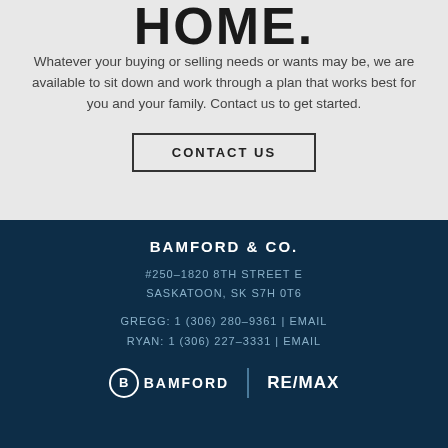HOME.
Whatever your buying or selling needs or wants may be, we are available to sit down and work through a plan that works best for you and your family. Contact us to get started.
CONTACT US
BAMFORD & CO.
#250–1820 8TH STREET E
SASKATOON, SK S7H 0T6
GREGG: 1 (306) 280–9361 | EMAIL
RYAN: 1 (306) 227–3331 | EMAIL
[Figure (logo): Bamford and RE/MAX logos side by side with a vertical divider]